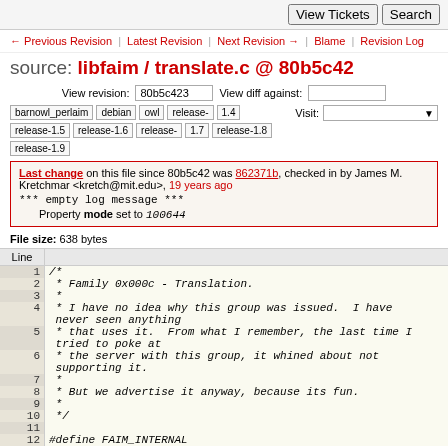View Tickets | Search
← Previous Revision | Latest Revision | Next Revision → | Blame | Revision Log
source: libfaim / translate.c @ 80b5c42
View revision: 80b5c423   View diff against:
barnowl_perlaim  debian  owl  release-1.4  release-1.5  release-1.6  release-1.7  release-1.8  release-1.9  Visit:
Last change on this file since 80b5c42 was 862371b, checked in by James M. Kretchmar <kretch@mit.edu>, 19 years ago
*** empty log message ***
Property mode set to 100644
File size: 638 bytes
| Line |  |
| --- | --- |
| 1 | /* |
| 2 |  * Family 0x000c - Translation. |
| 3 |  * |
| 4 |  * I have no idea why this group was issued.  I have never seen anything |
| 5 |  * that uses it.  From what I remember, the last time I tried to poke at |
| 6 |  * the server with this group, it whined about not supporting it. |
| 7 |  * |
| 8 |  * But we advertise it anyway, because its fun. |
| 9 |  * |
| 10 |  */ |
| 11 |  |
| 12 | #define FAIM_INTERNAL |